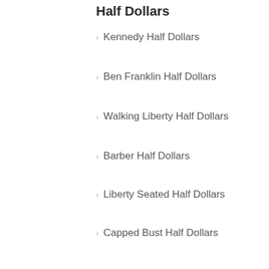Half Dollars
Kennedy Half Dollars
Ben Franklin Half Dollars
Walking Liberty Half Dollars
Barber Half Dollars
Liberty Seated Half Dollars
Capped Bust Half Dollars
Quarter Dollars
Washington Quarters
50 State Quarters
Standing Liberty Quarters
Barber Quarters
Liberty Seated Quarters
Capped Bust Quarters
Dimes
Roosevelt Dimes